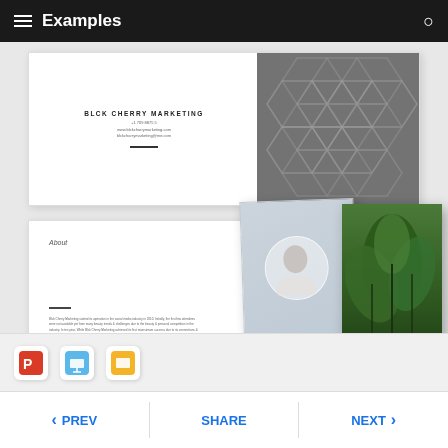Examples
[Figure (screenshot): Marketing template preview showing 'BLCK CHERRY MARKETING' cover slide with hexagonal pattern photo on right]
[Figure (screenshot): Marketing template 'About' page with person photo, plant, desk photos and grey background]
[Figure (screenshot): App format icons: PowerPoint, Keynote, Google Slides]
TEMPLATE.NET
PREV   SHARE   NEXT